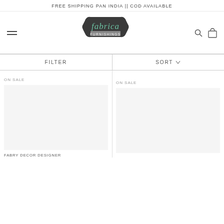FREE SHIPPING PAN INDIA || COD AVAILABLE
[Figure (logo): Fabrica Furnishings logo — dark badge shape with mint green cursive 'fabrica' text and 'FURNISHINGS' in grey below]
FILTER
SORT
ON SALE
ON SALE
FABRY DECOR DESIGNER